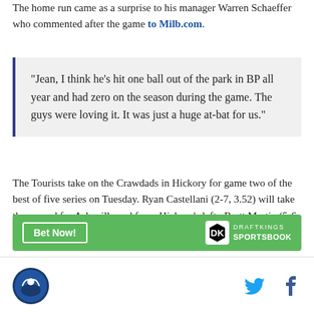The home run came as a surprise to his manager Warren Schaeffer who commented after the game to Milb.com.
"Jean, I think he's hit one ball out of the park in BP all year and had zero on the season during the game. The guys were loving it. It was just a huge at-bat for us."
The Tourists take on the Crawdads in Hickory for game two of the best of five series on Tuesday. Ryan Castellani (2-7, 3.52) will take the mound for Asheville and faces Hickory's lefty Brett Martin (5-6, 3.49).
[Figure (other): DraftKings Sportsbook advertisement banner with green background and 'Bet Now!' button]
Site logo, Twitter icon, Facebook icon